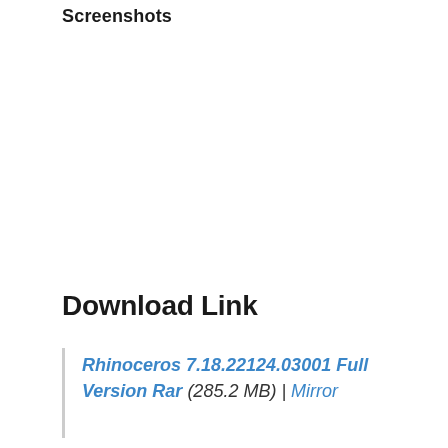Screenshots
Download Link
Rhinoceros 7.18.22124.03001 Full Version Rar (285.2 MB) | Mirror